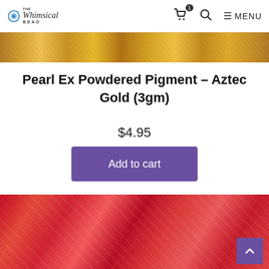The Whimsical Bead — navigation with cart, search, menu
[Figure (photo): Close-up texture of Aztec Gold pearl ex powdered pigment, golden shimmery surface]
Pearl Ex Powdered Pigment – Aztec Gold (3gm)
$4.95
Add to cart
Add to Wishlist
[Figure (photo): Close-up texture of red and white pearl ex powdered pigment]